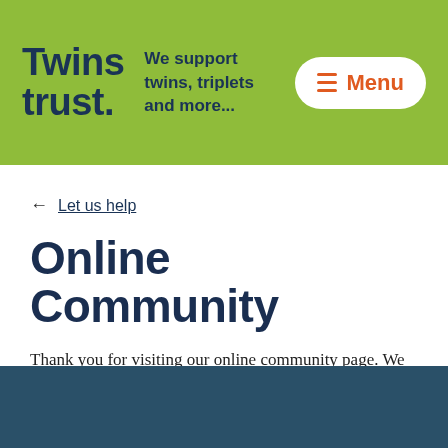Twins trust. We support twins, triplets and more... Menu
← Let us help
Online Community
Thank you for visiting our online community page. We aim to be a source of support and mutual understanding for our multiples' community.